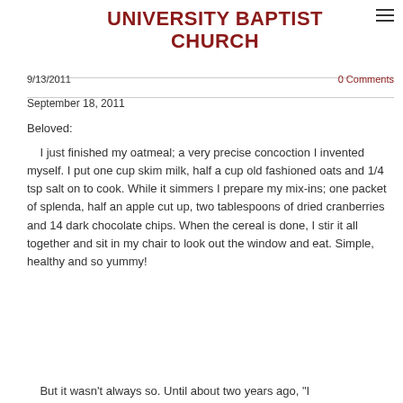UNIVERSITY BAPTIST CHURCH
9/13/2011
0 Comments
September 18, 2011
Beloved:
I just finished my oatmeal; a very precise concoction I invented myself.  I put one cup skim milk, half a cup old fashioned oats and 1/4 tsp salt on to cook.  While it simmers I prepare my mix-ins; one packet of splenda, half an apple cut up, two tablespoons of dried cranberries and 14 dark chocolate chips.  When the cereal is done, I stir it all together and sit in my chair to look out the window and eat.   Simple, healthy and so yummy!
But it wasn't always so.  Until about two years ago, "I